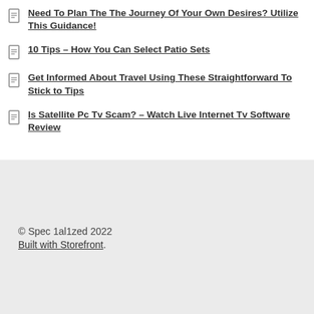Need To Plan The The Journey Of Your Own Desires? Utilize This Guidance!
10 Tips – How You Can Select Patio Sets
Get Informed About Travel Using These Straightforward To Stick to Tips
Is Satellite Pc Tv Scam? – Watch Live Internet Tv Software Review
© Spec 1al1zed 2022
Built with Storefront.